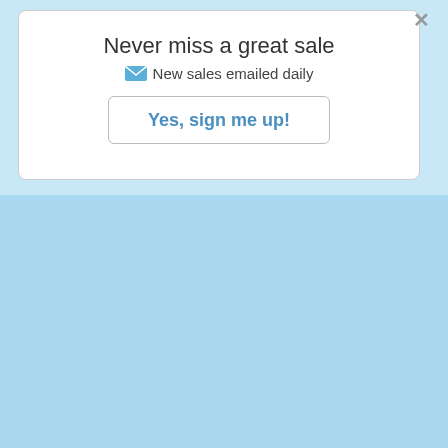Never miss a great sale
✉ New sales emailed daily
Yes, sign me up!
Stevenson Ranch Garage Sales: Search sales in Stevenson Ranch, CA
[Figure (logo): yardsales.net logo with green 'yard' text and red badge 'sales' with dot, followed by '.net']
Filter
Menu
Home / Yard sales in Stevenson Ranch, CA / List
List  Map  Photos  My Route  0
Stevenson Ranch Yard Sales